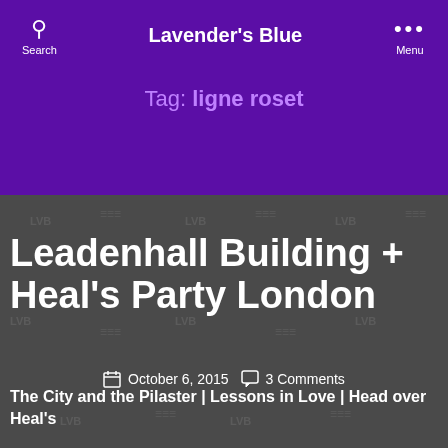Lavender's Blue
Tag: ligne roset
Leadenhall Building + Heal's Party London
October 6, 2015   3 Comments
The City and the Pilaster | Lessons in Love | Head over Heal's